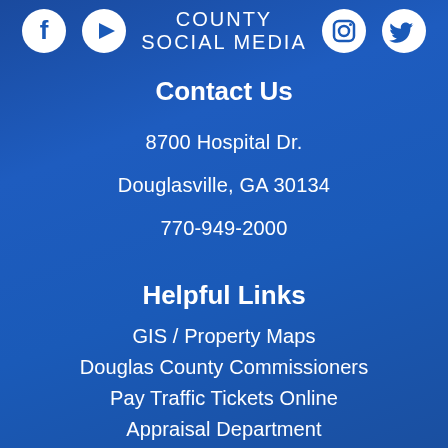[Figure (other): Social media icons row: Facebook, YouTube, Instagram, Twitter with COUNTY SOCIAL MEDIA text]
Contact Us
8700 Hospital Dr.
Douglasville, GA 30134
770-949-2000
Helpful Links
GIS / Property Maps
Douglas County Commissioners
Pay Traffic Tickets Online
Appraisal Department
Douglas County Happenings